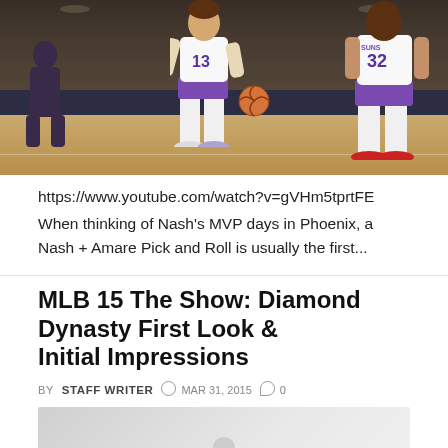[Figure (photo): Basketball video game screenshot showing two players in white Phoenix Suns jerseys (#13 and #32) on a court with crowd in background]
https://www.youtube.com/watch?v=gVHm5tprtFE When thinking of Nash's MVP days in Phoenix, a Nash + Amare Pick and Roll is usually the first...
MLB 15 The Show: Diamond Dynasty First Look & Initial Impressions
BY STAFF WRITER  MAR 31, 2015  0
[Figure (photo): Partially visible thumbnail image for the MLB 15 The Show article]